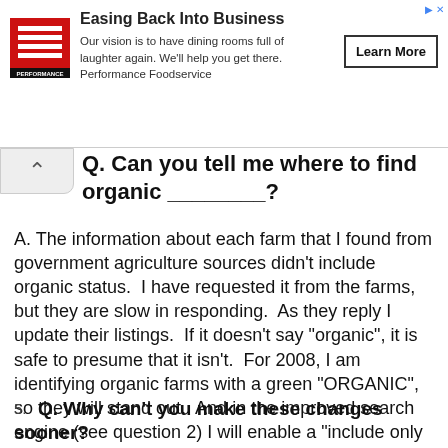[Figure (logo): Performance Foodservice logo — red square with white horizontal stripes and text PERFORMANCE below]
Easing Back Into Business
Our vision is to have dining rooms full of laughter again. We'll help you get there. Performance Foodservice
Learn More
Q. Can you tell me where to find organic ________?
A. The information about each farm that I found from government agriculture sources didn't include organic status.  I have requested it from the farms, but they are slow in responding.  As they reply I update their listings.  If it doesn't say "organic", it is safe to presume that it isn't.  For 2008, I am identifying organic farms with a green "ORGANIC", so they will stand out.  And in the improved search engine (see question 2) I will enable a "include only organic farms" option, too!.
5. Q. Why can't you make these changes sooner?